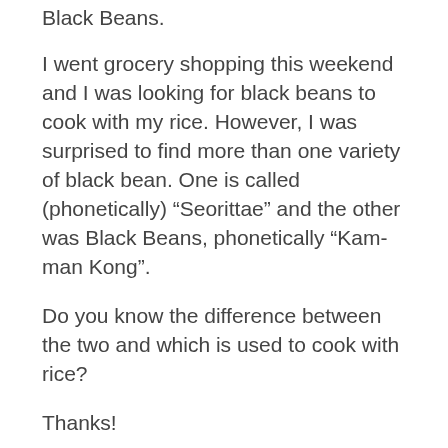Black Beans.
I went grocery shopping this weekend and I was looking for black beans to cook with my rice. However, I was surprised to find more than one variety of black bean. One is called (phonetically) “Seorittae” and the other was Black Beans, phonetically “Kam-man Kong”.
Do you know the difference between the two and which is used to cook with rice?
Thanks!
Maangchi
Posted January 19th, 2017 at 11:24 am | Log in to reply or create a profile.
Seoritae (서리태) is a kind of black bean, and inside, right beneath the black skin is green. The bean is larger than usual black beans and is known as a great resource